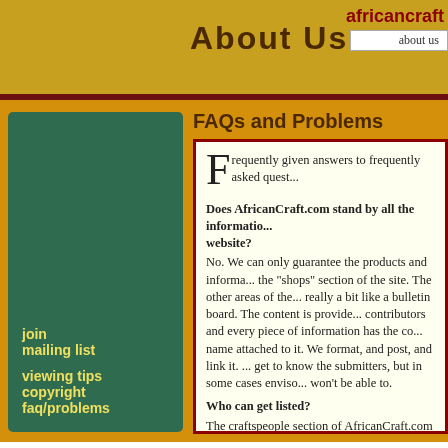About Us
africancraf... about us
FAQs and Problems
Frequently given answers to frequently asked quest...
Does AfricanCraft.com stand by all the information... website?
No. We can only guarantee the products and informa... the "shops" section of the site. The other areas of the... really a bit like a bulletin board. The content is provide... contributors and every piece of information has the co... name attached to it. We format, and post, and link it. ... get to know the submitters, but in some cases enviso... won't be able to.
Who can get listed?
The craftspeople section of AfricanCraft.com is open... artisans working in a visual medium. The designers s... to artists and product designers whose work incorpor... materials or is clearly influenced by its designs.
What information can I post and what is the limit?...
An entry will typically consist of an introduction, any n... photographs of your work (or of the artisan for whom...
join mailing list
viewing tips
copyright
faq/problems